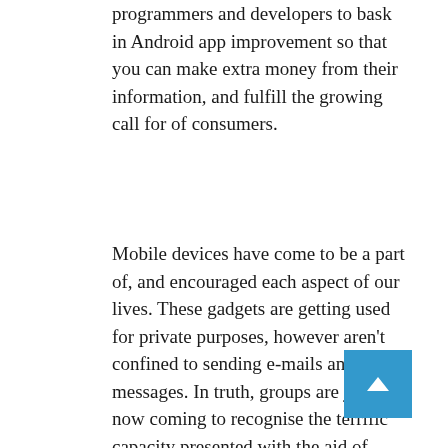programmers and developers to bask in Android app improvement so that you can make extra money from their information, and fulfill the growing call for of consumers.
Mobile devices have come to be a part of, and encouraged each aspect of our lives. These gadgets are getting used for private purposes, however aren't confined to sending e-mails and text messages. In truth, groups are just now coming to recognise the terrific capacity presented with the aid of these devices. The emerging tendencies call for advent of complicated applications. Android app development is one of these fields that is trendy by using organizations as a way to get themselves custom designed applications with a purpose to cater to their organizational desires.